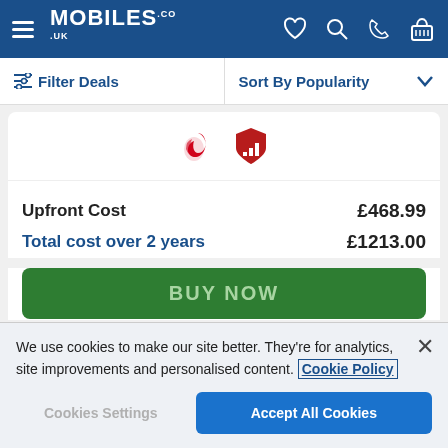[Figure (screenshot): Mobiles.co.uk website header with logo (hamburger menu + MOBILES.CO.UK text) and icons (heart, search, phone, basket) on dark blue background]
≡ Filter Deals    Sort By Popularity ∨
[Figure (logo): Vodafone logo (red flame/heart shape) and a red shield with bar chart icon]
Upfront Cost    £468.99
Total cost over 2 years    £1213.00
BUY NOW
We use cookies to make our site better. They're for analytics, site improvements and personalised content. Cookie Policy
Cookies Settings    Accept All Cookies